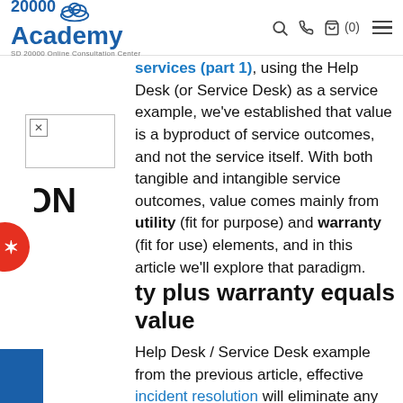20000 Academy — SD 20000 Online Consultation Center
services (part 1), using the Help Desk (or Service Desk) as a service example, we've established that value is a byproduct of service outcomes, and not the service itself. With both tangible and intangible service outcomes, value comes mainly from utility (fit for purpose) and warranty (fit for use) elements, and in this article we'll explore that paradigm.
Utility plus warranty equals value
Help Desk / Service Desk example from the previous article, effective incident resolution will eliminate any issues that prevent end-users (customers) from continuing with their daily operations. By fulfilling the need for quick service restoration when it gets